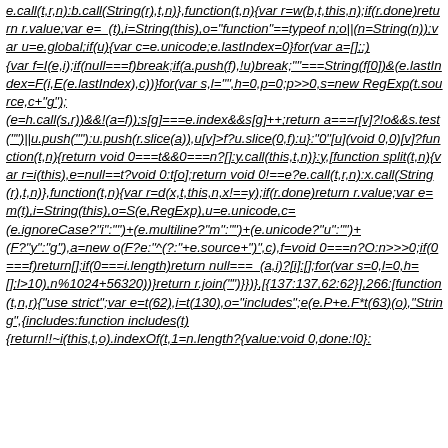e.call(t,r,n):b.call(String(r),t,n)},function(t,n){var r=w(b,t,this,n);if(r.done)return r.value;var e=_(t),i=String(this),o="function"==typeof n;o||(n=String(n));var u=e.global;if(u){var c=e.unicode;e.lastIndex=0}for(var a=[];;){var f=I(e,i);if(null===f)break;if(a.push(f),!u)break;""===String(f[0])&(e.lastIndex=F(i,E(e.lastIndex),c))}for(var s,l="",h=0,p=0;p>>0,s=new RegExp(t.source,c+"g");(e=h.call(s,r))&&!(a=f));s[g]===e.index&&s[g]++;return a===r[v]?!o&&s.test("")||u.push(""):u.push(r.slice(a)),u[v]>f?u.slice(0,f):u}:"0"[u](void 0,0)[v]?function(t,n){return void 0===t&&0===n?[]:y.call(this,t,n)}:y,[function split(t,n){var r=i(this),e=null==t?void 0:t[o];return void 0!==e?e.call(t,r,n):x.call(String(r),t,n)},function(t,n){var r=d(x,t,this,n,x!==y);if(r.done)return r.value;var e=m(t),i=String(this),o=S(e,RegExp),u=e.unicode,c=(e.ignoreCase?"i":"")+(e.multiline?"m":"")+(e.unicode?"u":"")+(F?"y":"g"),a=new o(F?e:"^(?:"+e.source+")",c),f=void 0===n?O:n>>>0;if(0===f)return[];if(0===i.length)return null===_(a,i)?[i]:[];for(var s=0,l=0,h=[];l>10),n%1024+56320))}return r.join("")}})},[{137:137,62:62}],266:[function(t,n,r){"use strict";var e=t(62),i=t(130),o="includes";e(e.P+e.F*t(63)(o),"String",{includes:function includes(t){return!!~i(this,t,o).indexOf(t,1=n.length?{value:void 0,done:!0}: